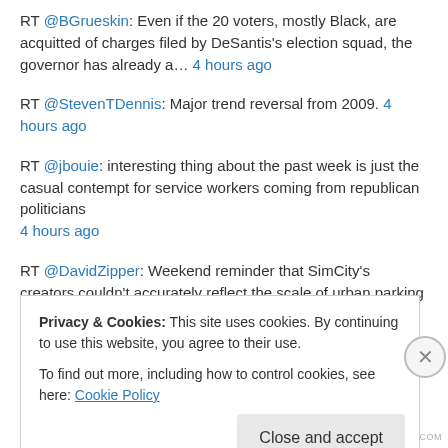RT @BGrueskin: Even if the 20 voters, mostly Black, are acquitted of charges filed by DeSantis's election squad, the governor has already a… 4 hours ago
RT @StevenTDennis: Major trend reversal from 2009. 4 hours ago
RT @jbouie: interesting thing about the past week is just the casual contempt for service workers coming from republican politicians 4 hours ago
RT @DavidZipper: Weekend reminder that SimCity's creators couldn't accurately reflect the scale of urban parking lots because if they did t… 18 hours ago
RT @RottenInDenmark: Zooming out, it's worth noting that we had a
Privacy & Cookies: This site uses cookies. By continuing to use this website, you agree to their use. To find out more, including how to control cookies, see here: Cookie Policy
Close and accept